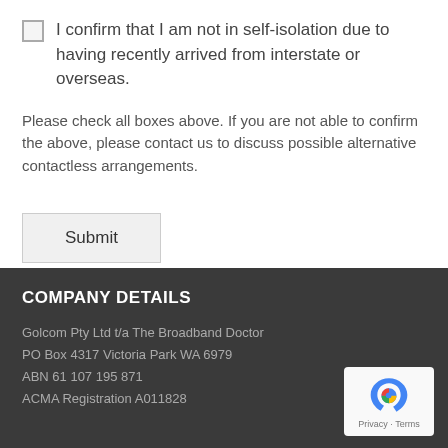I confirm that I am not in self-isolation due to having recently arrived from interstate or overseas.
Please check all boxes above. If you are not able to confirm the above, please contact us to discuss possible alternative contactless arrangements.
Submit
COMPANY DETAILS
Golcom Pty Ltd t/a The Broadband Doctor
PO Box 4317 Victoria Park WA 6979
ABN 61 107 195 871
ACMA Registration A011828